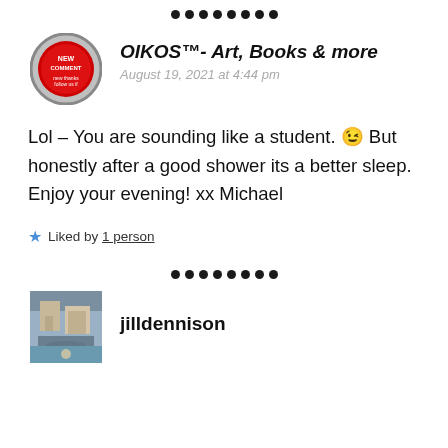[Figure (other): Row of 8 black dots as a divider]
[Figure (other): Circular avatar with red button/badge image for OIKOS commenter]
OIKOS™- Art, Books & more
August 19, 2021 at 4:44 pm
Lol – You are sounding like a student. 😉 But honestly after a good shower its a better sleep. Enjoy your evening! xx Michael
★ Liked by 1 person
[Figure (other): Row of 8 black dots as a divider]
[Figure (photo): Small square photo thumbnail of a building/city scene for jilldennison]
jilldennison